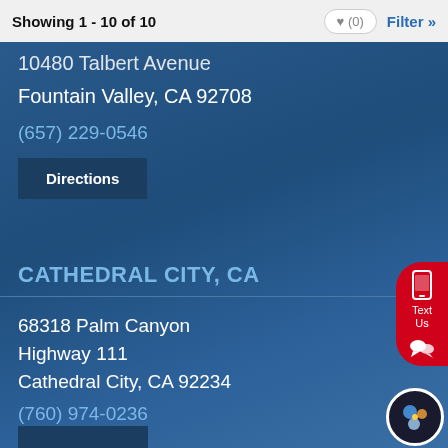Showing 1 - 10 of 10
10480 Talbert Avenue
Fountain Valley, CA 92708
(657) 229-0546
Directions
CATHEDRAL CITY, CA
68318 Palm Canyon
Highway 111
Cathedral City, CA 92234
(760) 974-0236